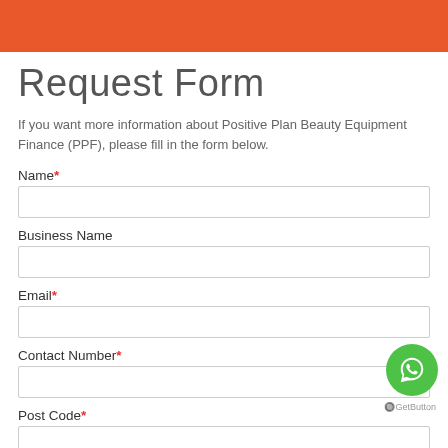[Figure (other): Orange decorative header bar]
Request Form
If you want more information about Positive Plan Beauty Equipment Finance (PPF), please fill in the form below.
Name*
Business Name
Email*
Contact Number*
Post Code*